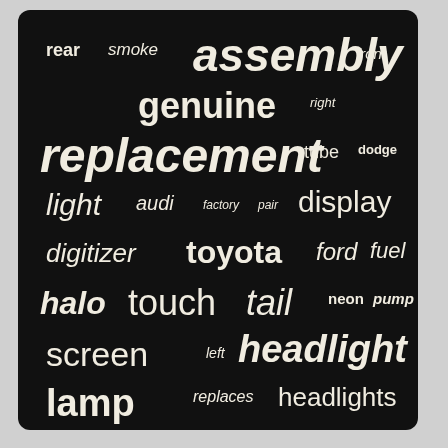[Figure (other): Word cloud on black background with automotive/parts related terms in varying sizes and styles. Words include: assembly, replacement, headlight, genuine, black, projector, lamp, halo, touch, tail, screen, digitizer, toyota, ford, display, light, rear, smoke, front, right, tube, dodge, audi, factory, pair, fuel, neon, pump, left, replaces, headlights, chevy, lights, clutch, side]